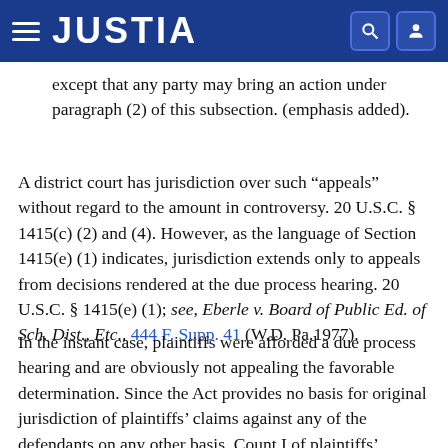JUSTIA
except that any party may bring an action under paragraph (2) of this subsection. (emphasis added).
A district court has jurisdiction over such "appeals" without regard to the amount in controversy. 20 U.S.C. § 1415(c) (2) and (4). However, as the language of Section 1415(e) (1) indicates, jurisdiction extends only to appeals from decisions rendered at the due process hearing. 20 U.S.C. § 1415(e) (1); see, Eberle v. Board of Public Ed. of Sch. Dist., Etc., 444 F. Supp. 41 (W.D. Pa.1977).
In the instant case, plaintiffs were afforded a due process hearing and are obviously not appealing the favorable determination. Since the Act provides no basis for original jurisdiction of plaintiffs' claims against any of the defendants on any other basis, Count I of plaintiffs' amended complaint must be dismissed.